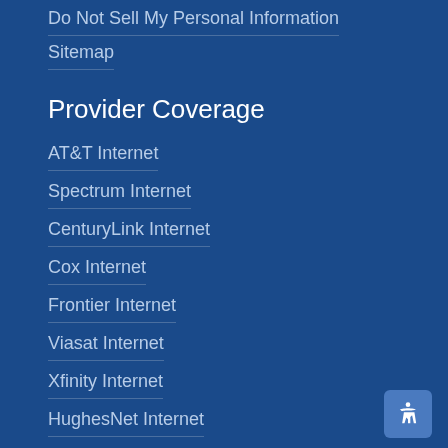Do Not Sell My Personal Information
Sitemap
Provider Coverage
AT&T Internet
Spectrum Internet
CenturyLink Internet
Cox Internet
Frontier Internet
Viasat Internet
Xfinity Internet
HughesNet Internet
Provider Deals
AT&T Internet Deals
Spectrum Internet Deals